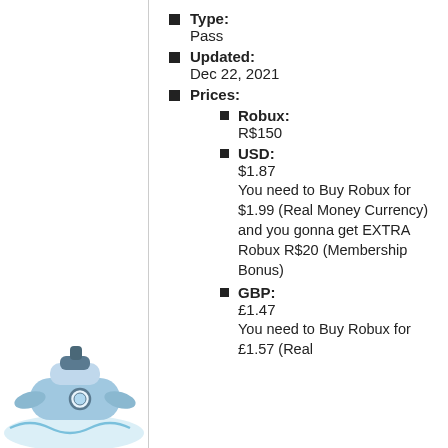Type: Pass
Updated: Dec 22, 2021
Prices:
Robux: R$150
USD: $1.87
You need to Buy Robux for $1.99 (Real Money Currency) and you gonna get EXTRA Robux R$20 (Membership Bonus)
GBP: £1.47
You need to Buy Robux for £1.57 (Real
[Figure (illustration): Partial illustration of a character or object at bottom-left, with light blue and white colors, partially cropped]